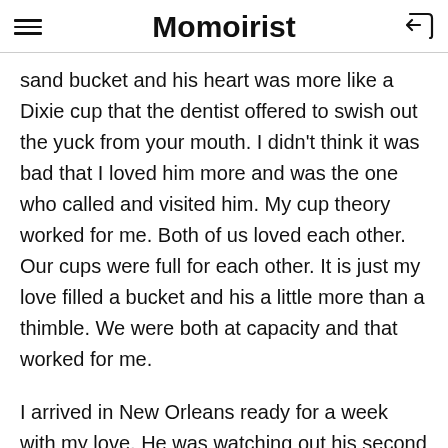Momoirist
sand bucket and his heart was more like a Dixie cup that the dentist offered to swish out the yuck from your mouth. I didn't think it was bad that I loved him more and was the one who called and visited him. My cup theory worked for me. Both of us loved each other. Our cups were full for each other. It is just my love filled a bucket and his a little more than a thimble. We were both at capacity and that worked for me.
I arrived in New Orleans ready for a week with my love. He was watching out his second floor window and saw me park my brand new used